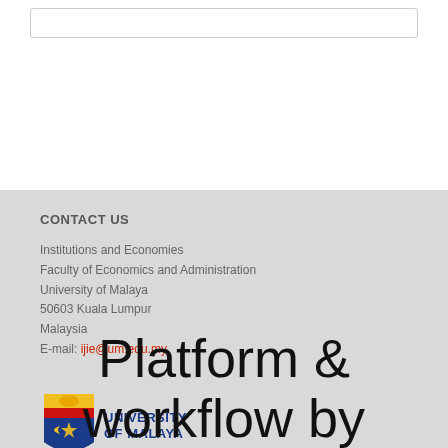[Figure (other): Empty rounded rectangle box at top of page]
CONTACT US
Institutions and Economies
Faculty of Economics and Administration
University of Malaya
50603 Kuala Lumpur
Malaysia
E-mail: ijie@um.edu.my
[Figure (logo): University of Malaya logo with shield crest and text UNIVERSITY OF MALAYA]
Platform &
workflow by